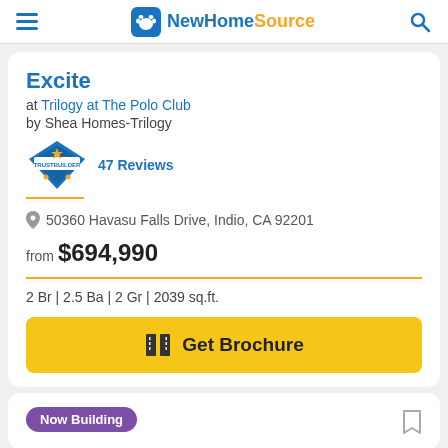NewHomeSource
Excite
at Trilogy at The Polo Club
by Shea Homes-Trilogy
47 Reviews
50360 Havasu Falls Drive, Indio, CA 92201
from $694,990
2 Br | 2.5 Ba | 2 Gr | 2039 sq.ft.
Get Brochure
Now Building